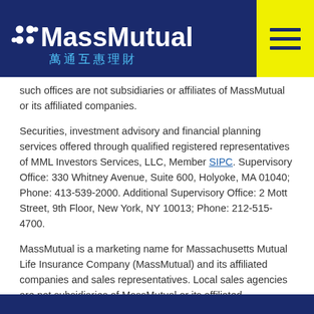MassMutual 萬通互惠理財
such offices are not subsidiaries or affiliates of MassMutual or its affiliated companies.
Securities, investment advisory and financial planning services offered through qualified registered representatives of MML Investors Services, LLC, Member SIPC. Supervisory Office: 330 Whitney Avenue, Suite 600, Holyoke, MA 01040; Phone: 413-539-2000. Additional Supervisory Office: 2 Mott Street, 9th Floor, New York, NY 10013; Phone: 212-515-4700.
MassMutual is a marketing name for Massachusetts Mutual Life Insurance Company (MassMutual) and its affiliated companies and sales representatives. Local sales agencies are not subsidiaries of MassMutual or its affiliated companies. Agency officers are not officers of MassMutual.
Financial services representatives are independent contractors and are not employees of MassMutual, its subsidiaries, or of general agents with whom they contract.